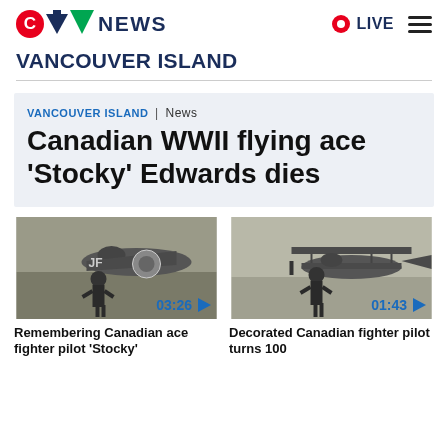CTV NEWS  LIVE
VANCOUVER ISLAND
Canadian WWII flying ace 'Stocky' Edwards dies
VANCOUVER ISLAND | News
[Figure (photo): Black and white photo of a WWII pilot standing next to a fighter plane with roundel markings, video duration 03:26]
Remembering Canadian ace fighter pilot 'Stocky'
[Figure (photo): Black and white photo of a pilot standing in front of a biplane, video duration 01:43]
Decorated Canadian fighter pilot turns 100